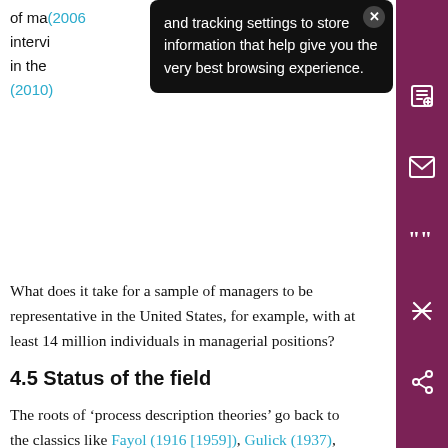of ma... (2006... intervi... in the... (2010)
[Figure (other): Tooltip/cookie consent overlay with text: 'and tracking settings to store information that help give you the very best browsing experience.' with a close (x) button]
What does it take for a sample of managers to be representative in the United States, for example, with at least 14 million individuals in managerial positions?
4.5 Status of the field
The roots of ‘process description theories’ go back to the classics like Fayol (1916 [1959]), Gulick (1937), Barnard (1938) and the work of Dalton (1959). The managerial work tradition appears to have regained its momentum (Tengblad 2012). The growing focus on the meaning managers ascribe to their leadership, and on the way in